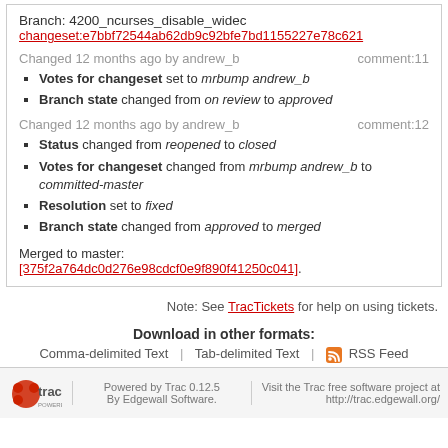Branch: 4200_ncurses_disable_widec
changeset:e7bbf72544ab62db9c92bfe7bd1155227e78c621
Changed 12 months ago by andrew_b   comment:11
Votes for changeset set to mrbump andrew_b
Branch state changed from on review to approved
Changed 12 months ago by andrew_b   comment:12
Status changed from reopened to closed
Votes for changeset changed from mrbump andrew_b to committed-master
Resolution set to fixed
Branch state changed from approved to merged
Merged to master:
[375f2a764dc0d276e98cdcf0e9f890f41250c041].
Note: See TracTickets for help on using tickets.
Download in other formats:
Comma-delimited Text | Tab-delimited Text | RSS Feed
Powered by Trac 0.12.5 By Edgewall Software. Visit the Trac free software project at http://trac.edgewall.org/